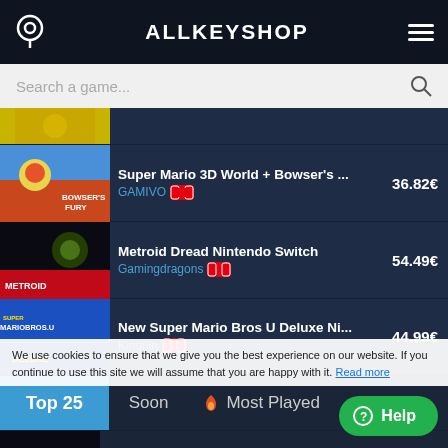ALLKEYSHOP
Search a game...
Super Mario 3D World + Bowser's ... | GAMIVO | 36.82€
Metroid Dread Nintendo Switch | Gamingdragons | 54.49€
New Super Mario Bros U Deluxe Ni... | Kinguin | 44.99€
Top 25 | Soon | Most Played
F1 Manager 2022 | GamesForPlay | 34.16€
Marvel's Spider-Man Remastered | HRK | 36.64€
Cult of the Lamb | GameBillet EU Ok | No | (price partially hidden)
Saints Row
We use cookies to ensure that we give you the best experience on our website. If you continue to use this site we will assume that you are happy with it. Read more
Help